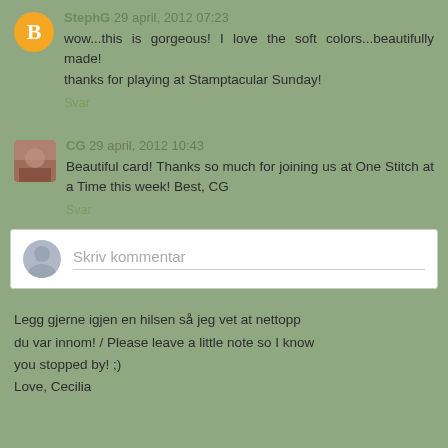StephG 29 april, 2012 07:23
wow...this is gorgeous! I love the soft colors...beautifully made!
thanks for playing at Stamptacular Sunday!
Svar
[Figure (photo): Small profile photo thumbnail of user CG]
CG 29 april, 2012 10:43
Beautiful card! Thanks so much for joining us at One Stitch at a Time this week! Best, CG
Svar
Skriv kommentar
Legg gjerne igjen en hilsen så jeg vet at nettopp du var innom! / Please leave a little note so I know you stopped by! ;)
Love, Cecilia